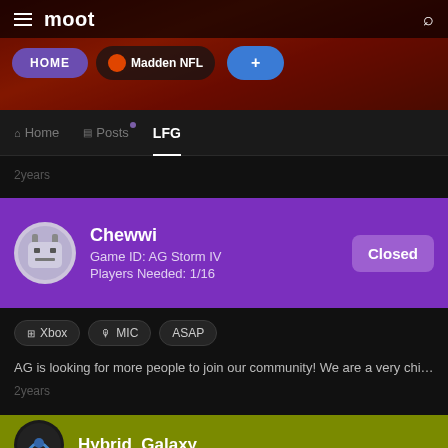[Figure (screenshot): Moot app banner with Madden NFL background, HOME pill, Madden NFL tab, and + button]
moot
Home | Posts | LFG
2years
Chewwi
Game ID: AG Storm IV
Players Needed: 1/16
Closed
Xbox
MIC
ASAP
AG is looking for more people to join our community! We are a very chill ga…
2years
Hybrid_Galaxy